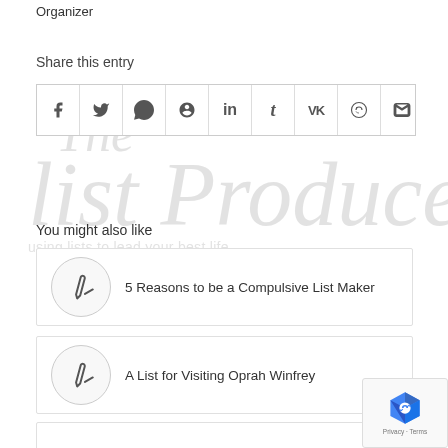Organizer
Share this entry
[Figure (infographic): Share buttons row with icons for Facebook, Twitter, WhatsApp, Pinterest, LinkedIn, Tumblr, VK, Reddit, and Email]
[Figure (logo): The List Producer watermark - italic serif text reading 'The List Producer' with tagline 'using lists to lead your best life']
You might also like
5 Reasons to be a Compulsive List Maker
A List for Visiting Oprah Winfrey